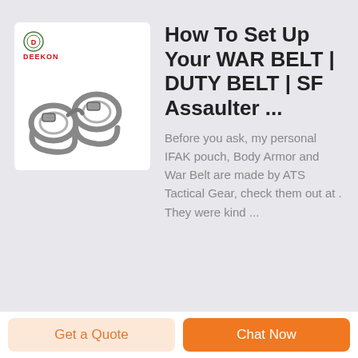[Figure (photo): Product image showing handcuffs with DEEKON brand logo in top-left corner. Logo has a circular emblem and red text reading DEEKON.]
How To Set Up Your WAR BELT | DUTY BELT | SF Assaulter ...
Before you ask, my personal IFAK pouch, Body Armor and War Belt are made by ATS Tactical Gear, check them out at . They were kind ...
Get a Quote
Chat Now